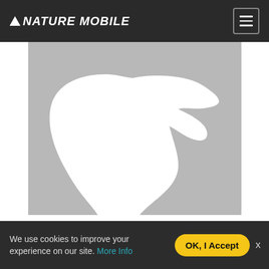NATURE MOBILE
[Figure (illustration): Gray placeholder image with white silhouette of a flying bird (duck/owl shape) in the center, wings spread wide]
hundeschnuff    Jan. 14, 2021
Tawny Owl
We use cookies to improve your experience on our site. More Info
OK, I Accept
x